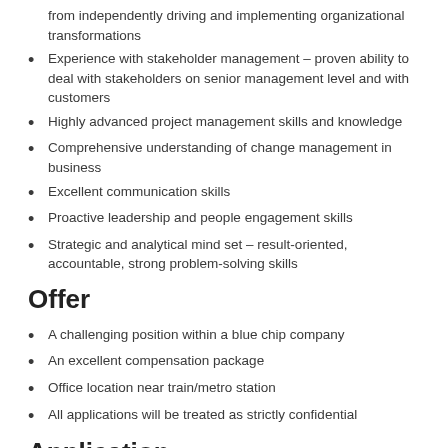from independently driving and implementing organizational transformations
Experience with stakeholder management – proven ability to deal with stakeholders on senior management level and with customers
Highly advanced project management skills and knowledge
Comprehensive understanding of change management in business
Excellent communication skills
Proactive leadership and people engagement skills
Strategic and analytical mind set – result-oriented, accountable, strong problem-solving skills
Offer
A challenging position within a blue chip company
An excellent compensation package
Office location near train/metro station
All applications will be treated as strictly confidential
Application